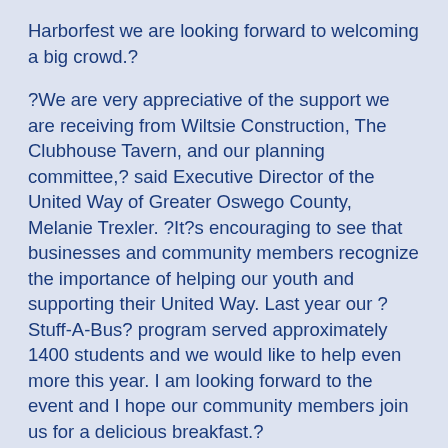Harborfest we are looking forward to welcoming a big crowd.?
?We are very appreciative of the support we are receiving from Wiltsie Construction, The Clubhouse Tavern, and our planning committee,? said Executive Director of the United Way of Greater Oswego County, Melanie Trexler. ?It?s encouraging to see that businesses and community members recognize the importance of helping our youth and supporting their United Way. Last year our ?Stuff-A-Bus? program served approximately 1400 students and we would like to help even more this year. I am looking forward to the event and I hope our community members join us for a delicious breakfast.?
In addition to the breakfast, the United Way will also be holding a drawing for a chance to win a mountain bike, courtesy of Eagle Beverage. Tickets are available at The Clubhouse Tavern and the United Way office, 1 South